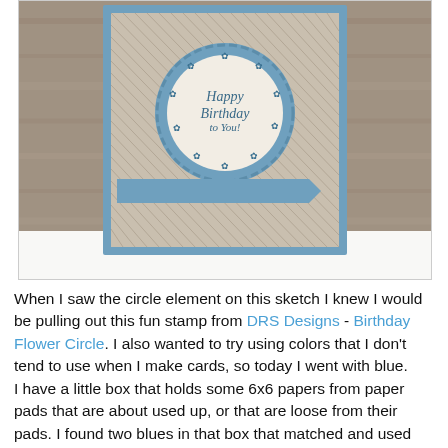[Figure (photo): A handmade birthday card with a blue and tan diamond-pattern background. A circular stamp in the center reads 'Happy Birthday to You!' surrounded by flower decorations. A blue banner ribbon is across the lower portion of the card. The card is displayed standing upright against a wooden background.]
When I saw the circle element on this sketch I knew I would be pulling out this fun stamp from DRS Designs - Birthday Flower Circle. I also wanted to try using colors that I don't tend to use when I make cards, so today I went with blue.
I have a little box that holds some 6x6 papers from paper pads that are about used up, or that are loose from their pads. I found two blues in that box that matched and used